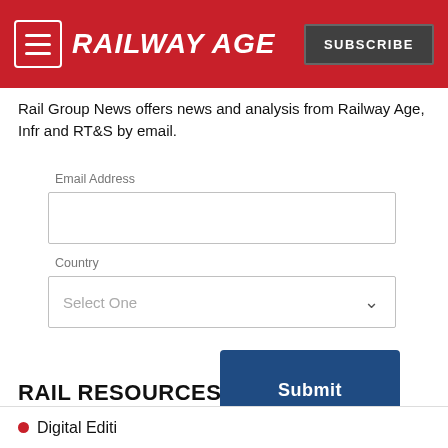RAILWAY AGE | SUBSCRIBE
Rail Group News offers news and analysis from Railway Age, Infr and RT&S by email.
Email Address
Country
Select One
Submit
RAIL RESOURCES
Digital Editi...